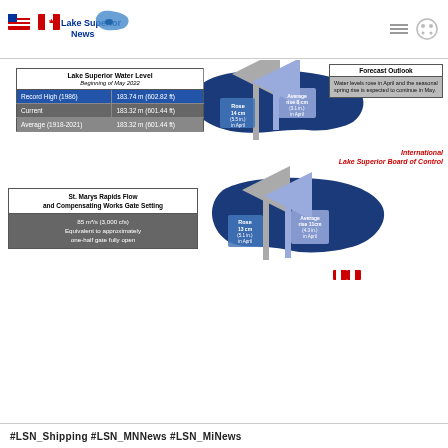[Figure (logo): Lake Superior News logo with US and Canadian flags and blue lake map shape]
| Lake Superior Water Level — Beginning of May 2022 |  |
| --- | --- |
| Record High (1986) | 183.74 m (602.82 ft) |
| Current | 183.32 m (601.44 ft) |
| Average (1918-2021) | 183.32 m (601.44 ft) |
| Forecast Outlook |
| --- |
| Water levels rose in April and the seasonal spring rise is expected to continue in May. |
International Lake Superior Board of Control
| St. Marys Rapids Flow and Compensating Works Gate Setting |
| --- |
| 85 m³/s (3,000 cfs) Equivalent to approximately one-half gate fully open |
[Figure (map): Map of Lake Superior and Lake Michigan-Huron showing water level rise arrows. Lake Superior rose 14 cm (5.5 in.) in April; average rise 8 cm (3.1 in.) in April. Lake Michigan-Huron rose 13 cm (5.1 in.) in April; average rise 11 cm (4.3 in.) in April.]
| Lake Michigan-Huron Water Level — Beginning of May 2022 |  |
| --- | --- |
| Record High (2020) | 177.34 m (581.82 ft) |
| Current | 176.72 m (579.79 ft) |
| Average (1918-2021) | 176.45 m (578.90 ft) |
| Lake Superior Total Outflow — May 2022 |  |
| --- | --- |
| Average (1900-2021) | 2,100 m³/s (74,200 cfs) |
| Current (as prescribed by Plan 2012) | 1,910 m³/s (67,500 cfs) |
| Record Low (1931) | 1,250 m³/s (44,100 cfs) |
#LSN_Shipping  #LSN_MNNews  #LSN_MiNews